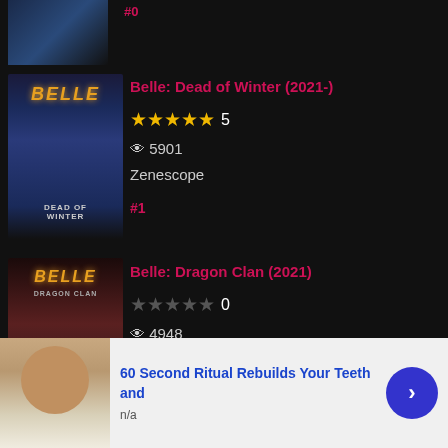[Figure (illustration): Partial comic book cover visible at top of page, dark fantasy theme]
#0
[Figure (illustration): Belle: Dead of Winter comic book cover showing a female character with blue energy effects]
Belle: Dead of Winter (2021-)
★★★★★ 5
👁 5901
Zenescope
#1
[Figure (illustration): Belle: Dragon Clan comic book cover showing a female character with dragon/fire theme]
Belle: Dragon Clan (2021)
★★★★★ 0
👁 4948
Zenescope
#1
60 Second Ritual Rebuilds Your Teeth and
n/a